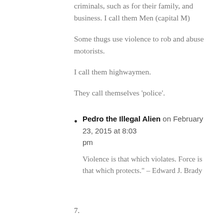criminals, such as for their family, and business. I call them Men (capital M)
Some thugs use violence to rob and abuse motorists.
I call them highwaymen.
They call themselves ‘police’.
Pedro the Illegal Alien on February 23, 2015 at 8:03 pm
Violence is that which violates. Force is that which protects.” – Edward J. Brady
7.